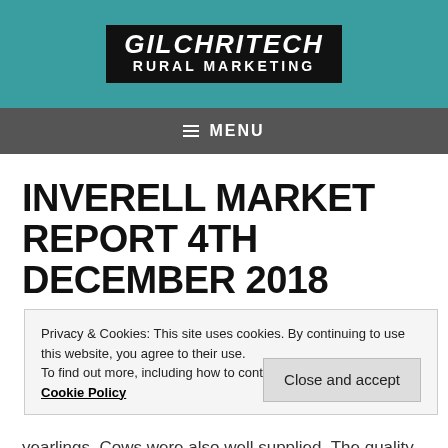[Figure (logo): Gilchrist Rural Marketing logo — white text on black background, italic stylized brand name above 'RURAL MARKETING' in bold caps, set on teal background]
≡  MENU
INVERELL MARKET REPORT 4TH DECEMBER 2018
Privacy & Cookies: This site uses cookies. By continuing to use this website, you agree to their use.
To find out more, including how to control cookies, see here:
Cookie Policy
Close and accept
yearlings. Cows were also well supplied. The quality